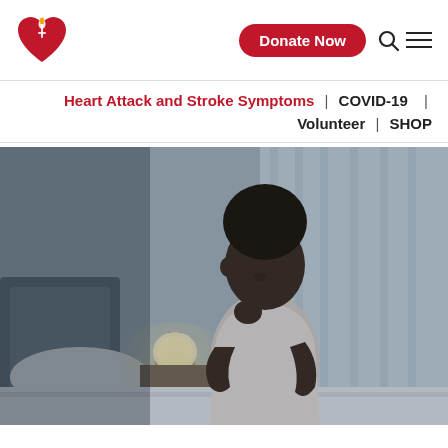[Figure (logo): American Heart Association logo: red heart with flame and torch icon]
Donate Now
Heart Attack and Stroke Symptoms  |  COVID-19  |  Volunteer  |  SHOP
[Figure (photo): A Black woman with curly hair sitting on the edge of a bed in a dimly lit bedroom, resting her chin on her hand looking distressed, wearing a white t-shirt.]